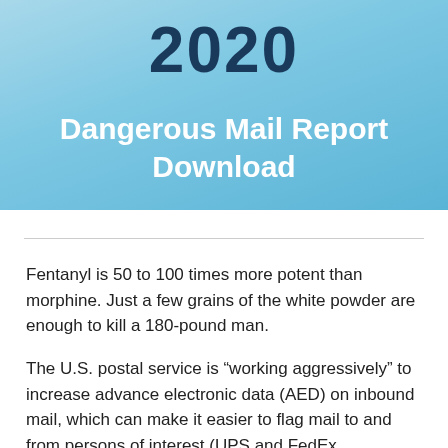2020
Dangerous Mail Report Download
Fentanyl is 50 to 100 times more potent than morphine. Just a few grains of the white powder are enough to kill a 180-pound man.
The U.S. postal service is “working aggressively” to increase advance electronic data (AED) on inbound mail, which can make it easier to flag mail to and from persons of interest (UPS and FedEx